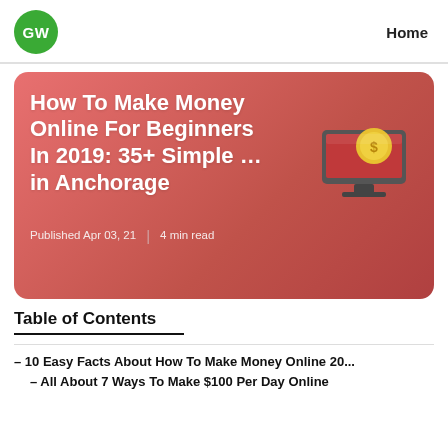GW  Home
[Figure (screenshot): Red gradient card with article title 'How To Make Money Online For Beginners In 2019: 35+ Simple ... in Anchorage', published date Apr 03, 21, 4 min read, and a computer monitor illustration with gold coin]
How To Make Money Online For Beginners In 2019: 35+ Simple ... in Anchorage
Published Apr 03, 21  |  4 min read
Table of Contents
– 10 Easy Facts About How To Make Money Online 20...
– All About 7 Ways To Make $100 Per Day Online